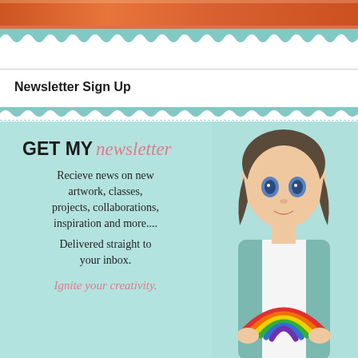[Figure (photo): Top portion of a photo showing orange/coral clothing]
[Figure (illustration): Newsletter signup promotional image with illustrated girl holding a rainbow on teal background. Text reads: GET MY newsletter. Recieve news on new artwork, classes, projects, collaborations, inspiration and more.... Delivered straight to your inbox. Ignite your creativity.]
Newsletter Sign Up